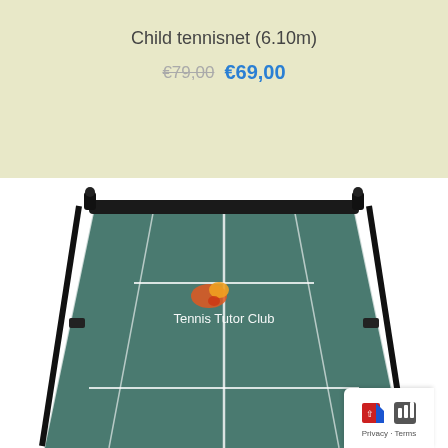Child tennisnet (6.10m)
€79,00 €69,00
[Figure (photo): Child tennis net product photo showing a dark green folding tennis net with white court lines printed on it, labeled 'Tennis Tutor Club' with a logo, supported by a black frame structure.]
[Figure (logo): Privacy - Terms badge with red button and document icon in bottom right corner.]